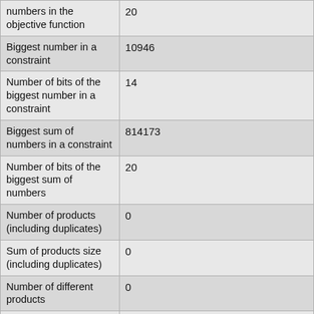| Property | Value |
| --- | --- |
| numbers in the objective function | 20 |
| Biggest number in a constraint | 10946 |
| Number of bits of the biggest number in a constraint | 14 |
| Biggest sum of numbers in a constraint | 814173 |
| Number of bits of the biggest sum of numbers | 20 |
| Number of products (including duplicates) | 0 |
| Sum of products size (including duplicates) | 0 |
| Number of different products | 0 |
| Sum of products size | 0 |